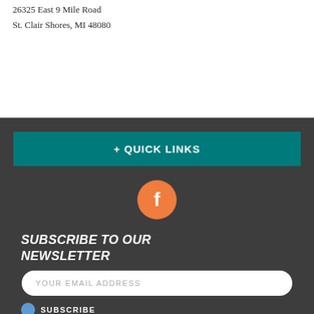26325 East 9 Mile Road
St. Clair Shores, MI 48080
+ QUICK LINKS
[Figure (logo): Orange circle with white Facebook 'f' icon]
SUBSCRIBE TO OUR NEWSLETTER
YOUR EMAIL ADDRESS
SUBSCRIBE